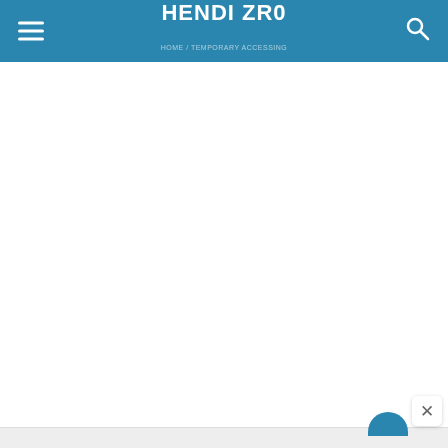HENDI ZRO
[Figure (screenshot): Mobile website screenshot showing a teal/blue navigation header bar with hamburger menu icon on the left, 'HENDI ZRO' title in white bold text in the center, and a search icon on the right. Below the header is a mostly blank white content area. In the bottom right corner there is a close (X) button and a partial teal circular avatar icon.]